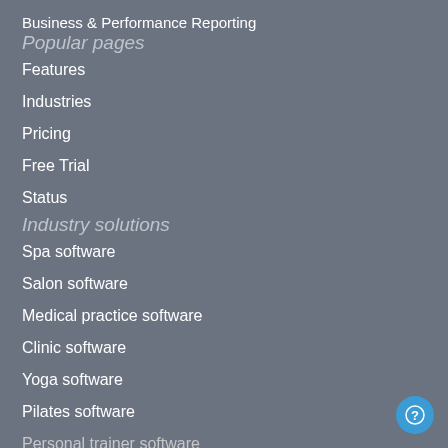Business & Performance Reporting
Popular pages
Features
Industries
Pricing
Free Trial
Status
Industry solutions
Spa software
Salon software
Medical practice software
Clinic software
Yoga software
Pilates software
Personal trainer software